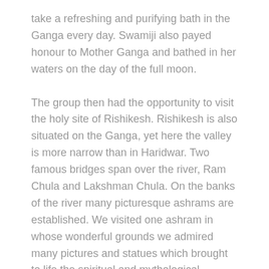take a refreshing and purifying bath in the Ganga every day. Swamiji also payed honour to Mother Ganga and bathed in her waters on the day of the full moon.
The group then had the opportunity to visit the holy site of Rishikesh. Rishikesh is also situated on the Ganga, yet here the valley is more narrow than in Haridwar. Two famous bridges span over the river, Ram Chula and Lakshman Chula. On the banks of the river many picturesque ashrams are established. We visited one ashram in whose wonderful grounds we admired many pictures and statues which brought to life the spiritual and mythological records of ancient India.
THE MEETING OF THE WORLD